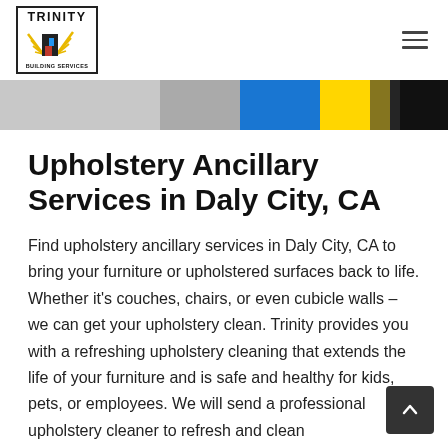TRINITY BUILDING SERVICES
[Figure (photo): Hero image strip showing a partial view of cleaning or upholstery service imagery with blue and yellow colors]
Upholstery Ancillary Services in Daly City, CA
Find upholstery ancillary services in Daly City, CA to bring your furniture or upholstered surfaces back to life. Whether it’s couches, chairs, or even cubicle walls – we can get your upholstery clean. Trinity provides you with a refreshing upholstery cleaning that extends the life of your furniture and is safe and healthy for kids, pets, or employees. We will send a professional upholstery cleaner to refresh and clean